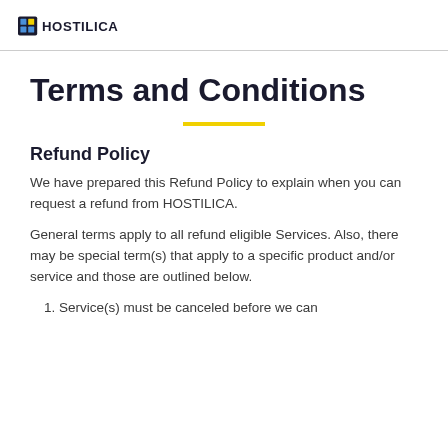HOSTILICA
Terms and Conditions
Refund Policy
We have prepared this Refund Policy to explain when you can request a refund from HOSTILICA.
General terms apply to all refund eligible Services. Also, there may be special term(s) that apply to a specific product and/or service and those are outlined below.
1. Service(s) must be canceled before we can